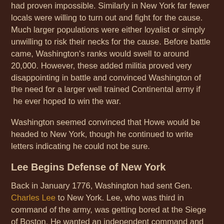had proven impossible.  Similarly in New York far fewer locals were willing to turn out and fight for the cause.  Much larger populations were either loyalist or simply unwilling to risk their necks for the cause.  Before battle came, Washington's ranks would swell to around 20,000.  However, these added militia proved very disappointing in battle and convinced Washington of the need for a larger well trained Continental army if  he ever hoped to win the war.
Washington seemed convinced that Howe would be headed to New York, though he continued to write letters indicating he could not be sure.
Lee Begins Defense of New York
Back in January 1776, Washington had sent Gen. Charles Lee to New York.  Lee, who was third in command of the army, was getting bored at the Siege of Boston.  He wanted an independent command and was not shy about writing to Congress about it.
Lee had a hard time treating Washington as a superior